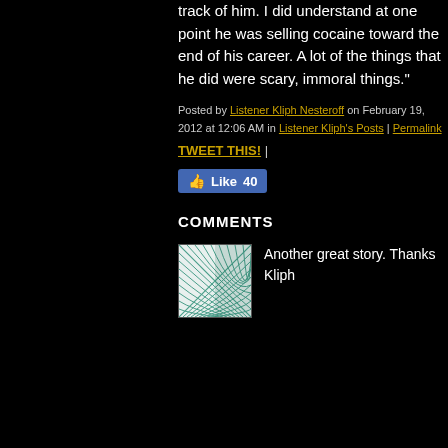track of him. I did understand at one point he was selling cocaine toward the end of his career. A lot of the things that he did were scary, immoral things."
Posted by Listener Kliph Nesteroff on February 19, 2012 at 12:06 AM in Listener Kliph's Posts | Permalink
TWEET THIS! |
[Figure (other): Facebook Like button showing 40 likes]
COMMENTS
[Figure (illustration): User avatar - teal/green geometric wave pattern on light background]
Another great story. Thanks Kliph